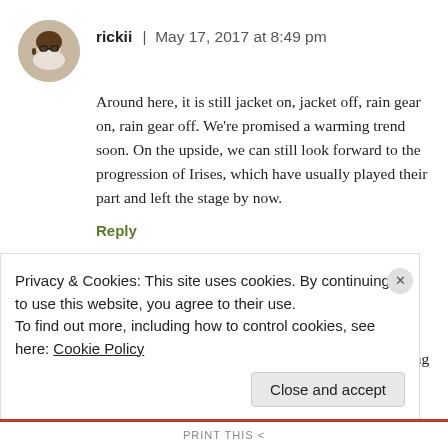rickii | May 17, 2017 at 8:49 pm
Around here, it is still jacket on, jacket off, rain gear on, rain gear off. We’re promised a warming trend soon. On the upside, we can still look forward to the progression of Irises, which have usually played their part and left the stage by now.
Reply
Christina | May 19, 2017 at 7:03 am
There’s a lot to be said for a cool spring as long
Privacy & Cookies: This site uses cookies. By continuing to use this website, you agree to their use.
To find out more, including how to control cookies, see here: Cookie Policy
Close and accept